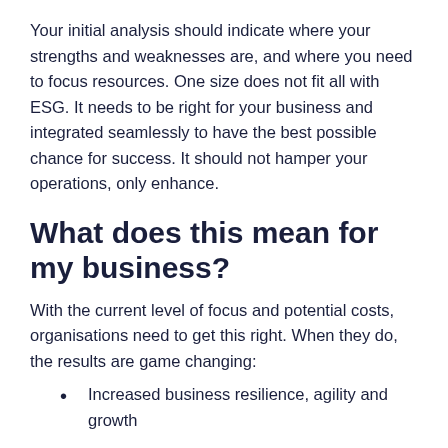Your initial analysis should indicate where your strengths and weaknesses are, and where you need to focus resources. One size does not fit all with ESG. It needs to be right for your business and integrated seamlessly to have the best possible chance for success. It should not hamper your operations, only enhance.
What does this mean for my business?
With the current level of focus and potential costs, organisations need to get this right. When they do, the results are game changing:
Increased business resilience, agility and growth